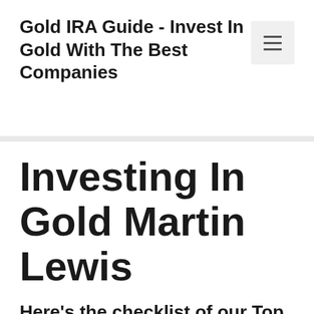Gold IRA Guide - Invest In Gold With The Best Companies
Investing In Gold Martin Lewis
Here’s the checklist of our Top 3: